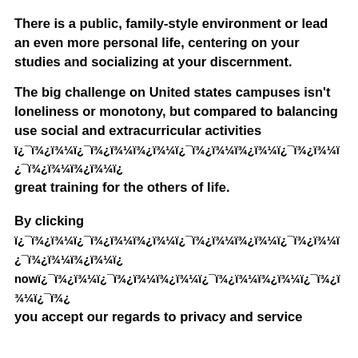There is a public, family-style environment or lead an even more personal life, centering on your studies and socializing at your discernment.
The big challenge on United states campuses isn't loneliness or monotony, but compared to balancing use social and extracurricular activities ï¿¯ï¾¿ï¾¿ï¿¯ï¾¿ï¾¿ï¾¿ï¿¯ï¾¿ï¾¿ï¾¿ï¿¯ï¾¿ï¾¿ï¿¯ï¾¿ï¾¿ï¾¿ï¿ great training for the others of life.
By clicking ï¿¯ï¾¿ï¾¿ï¿¯ï¾¿ï¾¿ï¾¿ï¿¯ï¾¿ï¾¿ï¾¿ï¿¯ï¾¿ï¾¿ï¿¯ï¾¿ï¾¿ï¾¿ï¿ nowï¿¯ï¾¿ï¾¿ï¿¯ï¾¿ï¾¿ï¾¿ï¿¯ï¾¿ï¾¿ï¾¿ï¿¯ï¾¿ï¾¿ï¿¯ï¿ you accept our regards to privacy and service